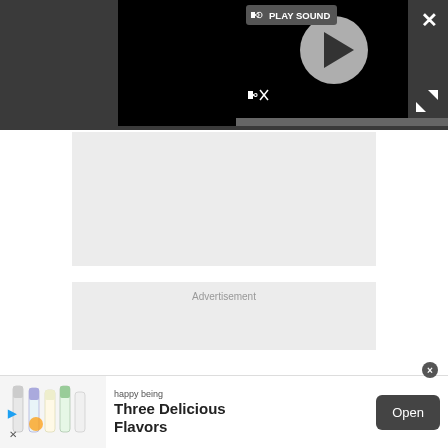[Figure (screenshot): Video player UI with dark background, play button circle, speaker/sound icon, PLAY SOUND label, mute icon, and progress bar at bottom]
[Figure (screenshot): Grey content placeholder box]
Advertisement
[Figure (screenshot): Grey advertisement placeholder box]
[Figure (screenshot): Bottom banner ad: happy being Three Delicious Flavors with Open button and product bottle images]